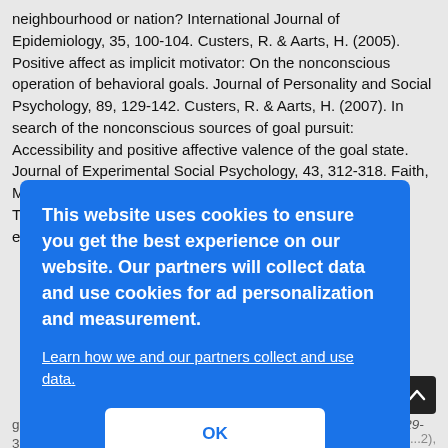neighbourhood or nation? International Journal of Epidemiology, 35, 100-104. Custers, R. & Aarts, H. (2005). Positive affect as implicit motivator: On the nonconscious operation of behavioral goals. Journal of Personality and Social Psychology, 89, 129-142. Custers, R. & Aarts, H. (2007). In search of the nonconscious sources of goal pursuit: Accessibility and positive affective valence of the goal state. Journal of Experimental Social Psychology, 43, 312-318. Faith, M. S., Fontaine, K. R., Baskin, M. L. & Allison, D. B. (2007). Toward the reduction of population obesity: Macrolevel environmental approaches to the [partially obscured] ...90, ...goal activation. Journal of Personality and Social Psychology, 91, [29-...338. Forster, b A. (2008). Processing goal distinction [continues]
[Figure (screenshot): Cookie consent overlay dialog box with blue background. Text reads: 'This website uses cookies to ensure you get the best experience on our website. Our partners will collect data and use cookies for ad personalization and measurement.' Link: 'Learn how we and our partners collect and use data.' Button: 'OK']